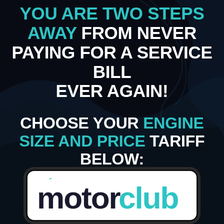YOU ARE TWO STEPS AWAY FROM NEVER PAYING FOR A SERVICE BILL EVER AGAIN!
CHOOSE YOUR ENGINE SIZE AND PRICE TARIFF BELOW:
[Figure (logo): Motorclub logo: rounded rectangle badge with white background and dark border. Text reads 'motorclub' where 'motor' is in dark navy/black and 'club' is in teal, with an accent mark over the 'o' in motor.]